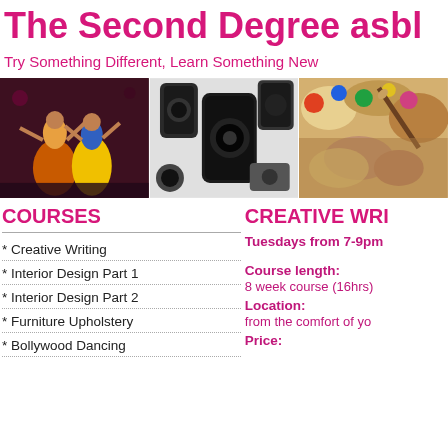The Second Degree asbl
Try Something Different, Learn Something New
[Figure (photo): Three photos side by side: Indian classical dancers on stage, camera lenses on white background, artist painting palette with brushes]
COURSES
CREATIVE WRI
Tuesdays from 7-9pm
* Creative Writing
* Interior Design Part 1
* Interior Design Part 2
* Furniture Upholstery
* Bollywood Dancing
Course length:
8 week course (16hrs)
Location:
from the comfort of yo
Price: